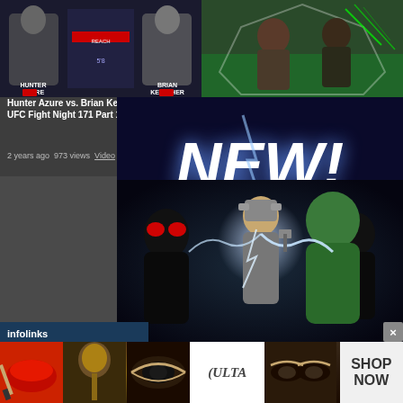[Figure (screenshot): UFC fight video thumbnail showing Hunter Azure vs Brian Kelleher fighter comparison screen]
[Figure (screenshot): UFC Fight Night video thumbnail showing fight action in the ring]
Hunter Azure vs. Brian Kelleher Full Fight UFC Fight Night 171 Part 1
2 years ago  973 views  Video
Chase Sherman vs. Ike Villanueva Full Fight UFC Fight Night 171 Part 3
2 years ago  853 views  Video
[Figure (screenshot): NEW! badge overlay on video content]
[Figure (illustration): Marvel comics artwork showing Thor, Hulk, and Venom characters fighting]
[Figure (screenshot): infolinks advertisement bar]
[Figure (screenshot): Ulta Beauty advertisement banner showing makeup products and SHOP NOW call to action]